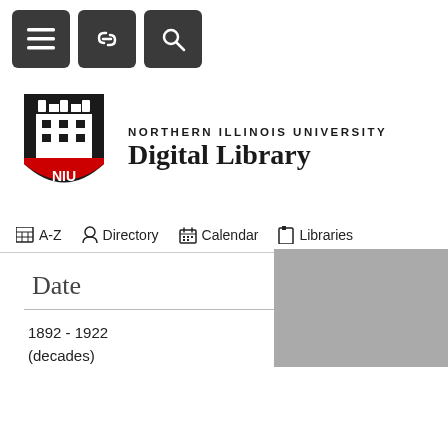[Figure (screenshot): Top navigation bar with three dark square buttons: hamburger menu, link/chain icon, and search magnifier icon]
[Figure (logo): Northern Illinois University NIU shield logo in black and red]
NORTHERN ILLINOIS UNIVERSITY Digital Library
A-Z  Directory  Calendar  Libraries
Date
1892 - 1922
(decades)
[Figure (photo): Partial gray rectangle representing a cropped or loading image in the bottom right]